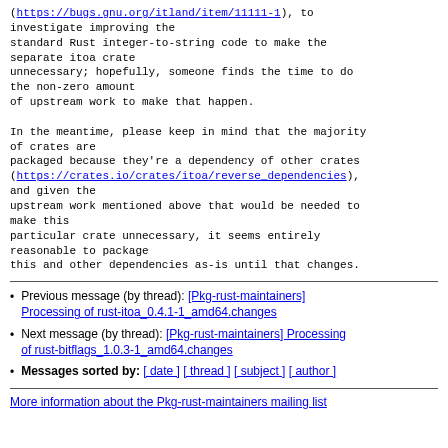(https://bugs.gnu.org/itland/item/11111-1), to investigate improving the standard Rust integer-to-string code to make the separate itoa crate unnecessary; hopefully, someone finds the time to do the non-zero amount of upstream work to make that happen.

In the meantime, please keep in mind that the majority of crates are packaged because they're a dependency of other crates (https://crates.io/crates/itoa/reverse_dependencies), and given the upstream work mentioned above that would be needed to make this particular crate unnecessary, it seems entirely reasonable to package this and other dependencies as-is until that changes.
Previous message (by thread): [Pkg-rust-maintainers] Processing of rust-itoa_0.4.1-1_amd64.changes
Next message (by thread): [Pkg-rust-maintainers] Processing of rust-bitflags_1.0.3-1_amd64.changes
Messages sorted by: [ date ] [ thread ] [ subject ] [ author ]
More information about the Pkg-rust-maintainers mailing list